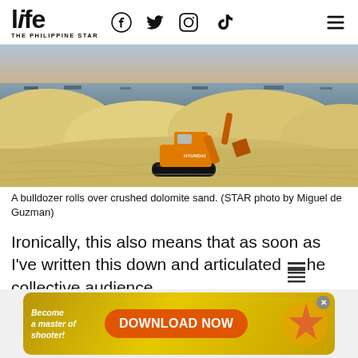life THE PHILIPPINE STAR — with Facebook, Twitter, Instagram, TikTok, and menu icons
[Figure (photo): An orange Hyundai excavator/bulldozer rolling over large mounds of crushed dolomite sand near a shoreline at dusk, with ships visible on the water in the background.]
A bulldozer rolls over crushed dolomite sand. (STAR photo by Miguel de Guzman)
Ironically, this also means that as soon as I've written this down and articulated the collective audience
[Figure (screenshot): Advertisement banner: 'Become a master of shooter! DOWNLOAD NOW' with a golden/yellow background and a starfish graphic.]